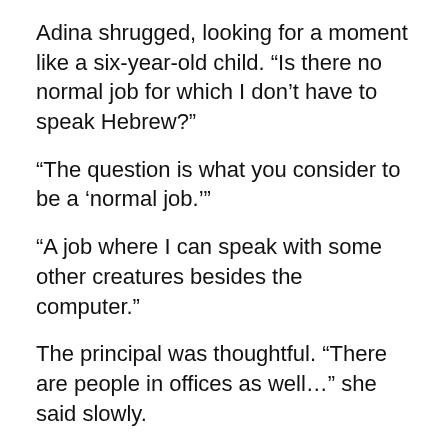Adina shrugged, looking for a moment like a six-year-old child. “Is there no normal job for which I don’t have to speak Hebrew?”
“The question is what you consider to be a ‘normal job.’”
“A job where I can speak with some other creatures besides the computer.”
The principal was thoughtful. “There are people in offices as well…” she said slowly.
Adina agreed. “Yes, but I barely have anything to do with them, especially since no one lets me have any contact with customers.”
“Of course, because you’re…”
“Because I don’t know Hebrew. Okay, I know. But that